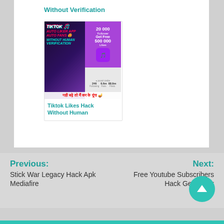Without Verification
[Figure (screenshot): TikTok Auto Liker App Auto Fans Without Human Verification promotional image with text in Hindi at bottom]
Tiktok Likes Hack Without Human
Previous: Stick War Legacy Hack Apk Mediafire
Next: Free Youtube Subscribers Hack Generator